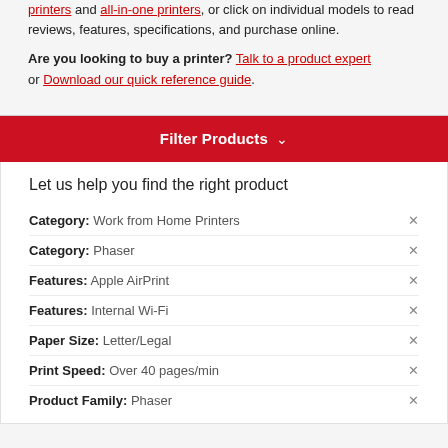printers and all-in-one printers, or click on individual models to read reviews, features, specifications, and purchase online.
Are you looking to buy a printer? Talk to a product expert or Download our quick reference guide.
Filter Products
Let us help you find the right product
Category: Work from Home Printers ×
Category: Phaser ×
Features: Apple AirPrint ×
Features: Internal Wi-Fi ×
Paper Size: Letter/Legal ×
Print Speed: Over 40 pages/min ×
Product Family: Phaser ×